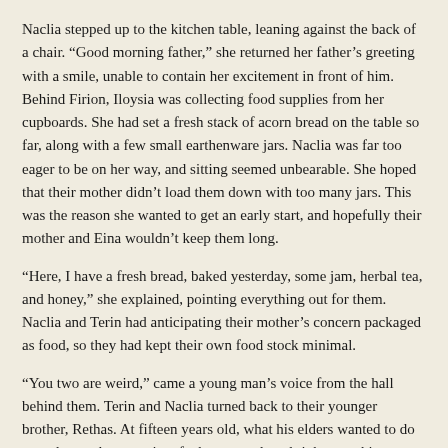Naclia stepped up to the kitchen table, leaning against the back of a chair. “Good morning father,” she returned her father’s greeting with a smile, unable to contain her excitement in front of him. Behind Firion, Iloysia was collecting food supplies from her cupboards. She had set a fresh stack of acorn bread on the table so far, along with a few small earthenware jars. Naclia was far too eager to be on her way, and sitting seemed unbearable. She hoped that their mother didn’t load them down with too many jars. This was the reason she wanted to get an early start, and hopefully their mother and Eina wouldn’t keep them long.
“Here, I have a fresh bread, baked yesterday, some jam, herbal tea, and honey,” she explained, pointing everything out for them. Naclia and Terin had anticipating their mother’s concern packaged as food, so they had kept their own food stock minimal.
“You two are weird,” came a young man’s voice from the hall behind them. Terin and Naclia turned back to their younger brother, Rethas. At fifteen years old, what his elders wanted to do was always the opposite of what wanted, and right now, his significantly older siblings were looking forward to their first foray out of the forest so he had to find fault somewhere. “Why would anyone want to leave here anyway?” Rethas scoffed, leaning against the wall casually.
Terin arched his brow at Rethas, a very slight smirk on his lips. “Jealous, are we?”